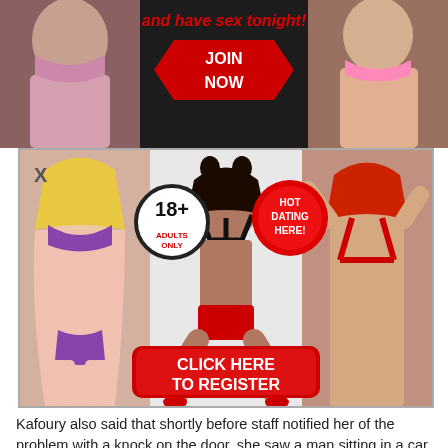[Figure (photo): Adult dating advertisement banner at top showing women in lingerie with red text 'and have sex tonight!' and a red arrow-shaped JOIN NOW button]
[Figure (photo): Adult dating popup advertisement showing three women in revealing clothing, an 18+ adults only badge circle, a HOT DATING HERE! red circle badge, an X close button, and a red CLICK HERE TO REGISTER button]
Kafoury also said that shortly before staff notified her of the problem with a knock on the door, she saw a man sitting in a car looking her way - but she hadn't realized he could actually see her.